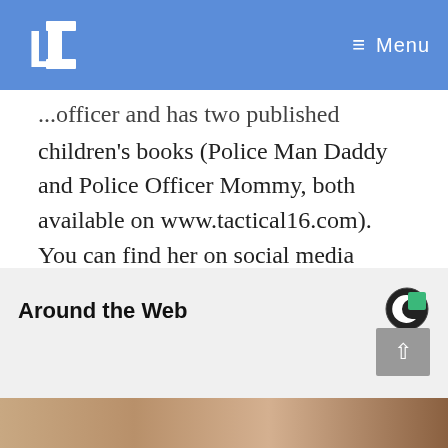LET Menu
...officer and has two published children's books (Police Man Daddy and Police Officer Mommy, both available on www.tactical16.com). You can find her on social media @leahmsanaya or at www.leahanaya.com.
Around the Web
[Figure (logo): Circular sponsored content logo (C with green square)]
[Figure (photo): Partial photo visible at bottom of page, appears to be a close-up of a person's face]